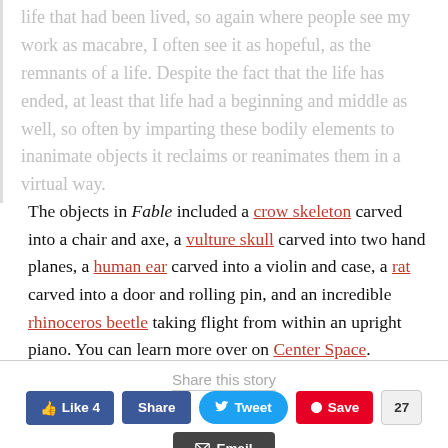life that had been lived, so again where people see my work as macabre, I often see it as hopeful, as the remnants of a life. Despite the fact that the life has ended, at least that life had a beginning and middle as well, so often by imparting these bodily elements to inanimate objects it reclaims or reanimates them in a virtual way.
The objects in Fable included a crow skeleton carved into a chair and axe, a vulture skull carved into two hand planes, a human ear carved into a violin and case, a rat carved into a door and rolling pin, and an incredible rhinoceros beetle taking flight from within an upright piano. You can learn more over on Center Space.
Share this story
[Figure (other): Social sharing buttons: Like 4 (Facebook), Share (Facebook), Tweet (Twitter), Save (Pinterest) with count 27, and Email button]